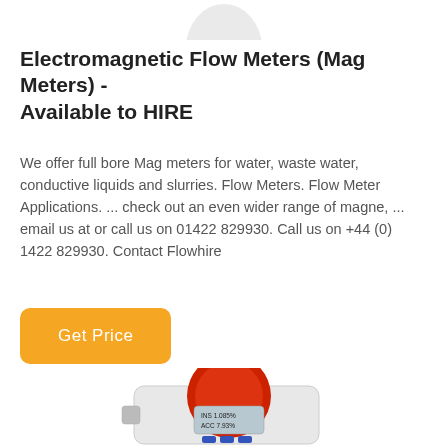[Figure (photo): Partial view of a circular logo or device at top of page (cropped, partially visible)]
Electromagnetic Flow Meters (Mag Meters) - Available to HIRE
We offer full bore Mag meters for water, waste water, conductive liquids and slurries. Flow Meters. Flow Meter Applications. ... check out an even wider range of magne, ... email us at or call us on 01422 829930. Call us on +44 (0) 1422 829930. Contact Flowhire
[Figure (other): Orange rounded rectangle button labeled 'Get Price']
[Figure (photo): Photo of a red and white electromagnetic flow meter / mag meter device with display screen showing 'INS 1.085%' and 'ACC 7.93%', partially cropped at bottom of page]